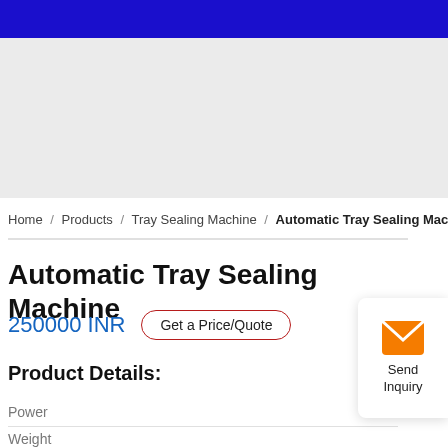[Figure (other): Gray placeholder image area below blue header bar]
Home / Products / Tray Sealing Machine / Automatic Tray Sealing Machine
Automatic Tray Sealing Machine
250000 INR
Get a Price/Quote
Product Details:
Power
Weight
[Figure (illustration): Send Inquiry card with orange envelope icon and text 'Send Inquiry']